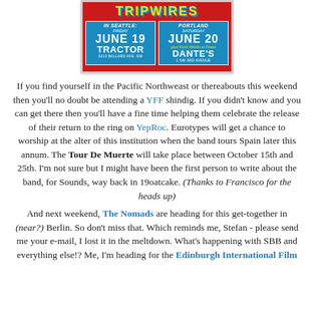[Figure (illustration): Concert poster for Tripwires band. Red background with yellow title text 'TRIPWIRES'. Two blue boxes: left shows 'in Seattle: Friday June 19 Tractor 5213 Ballard Ave NW', right shows 'Portland Saturday June 20 plus From Words to Flows Dante's 1 SW 3rd Avenue'.]
If you find yourself in the Pacific Northweast or thereabouts this weekend then you'll no doubt be attending a YFF shindig. If you didn't know and you can get there then you'll have a fine time helping them celebrate the release of their return to the ring on YepRoc. Eurotypes will get a chance to worship at the alter of this institution when the band tours Spain later this annum. The Tour De Muerte will take place between October 15th and 25th. I'm not sure but I might have been the first person to write about the band, for Sounds, way back in 19oatcake. (Thanks to Francisco for the heads up)
And next weekend, The Nomads are heading for this get-together in (near?) Berlin. So don't miss that. Which reminds me, Stefan - please send me your e-mail, I lost it in the meltdown. What's happening with SBB and everything else!? Me, I'm heading for the Edinburgh International Film